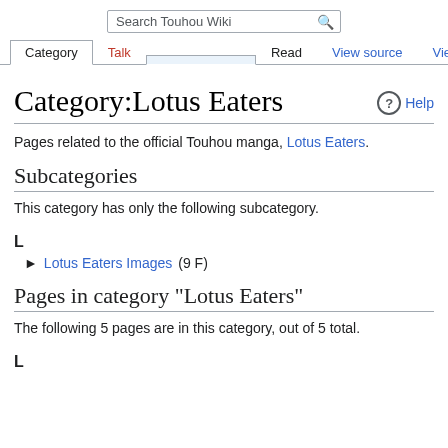Search Touhou Wiki
Category | Talk | Read | View source | View history
Category:Lotus Eaters
Pages related to the official Touhou manga, Lotus Eaters.
Subcategories
This category has only the following subcategory.
L
Lotus Eaters Images (9 F)
Pages in category "Lotus Eaters"
The following 5 pages are in this category, out of 5 total.
L